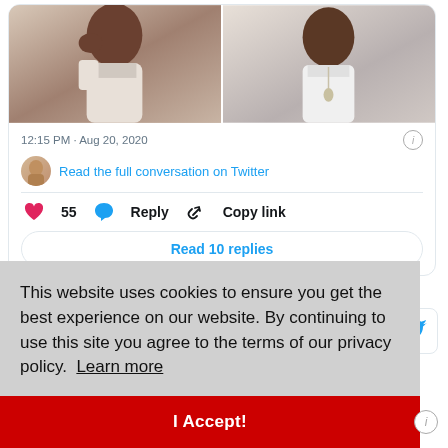[Figure (screenshot): Twitter embedded tweet showing two photos of people side by side, timestamp 12:15 PM Aug 20 2020, with like count 55, Reply and Copy link buttons, and a Read 10 replies button]
12:15 PM · Aug 20, 2020
Read the full conversation on Twitter
55  Reply  Copy link
Read 10 replies
This website uses cookies to ensure you get the best experience on our website. By continuing to use this site you agree to the terms of our privacy policy. Learn more
I Accept!